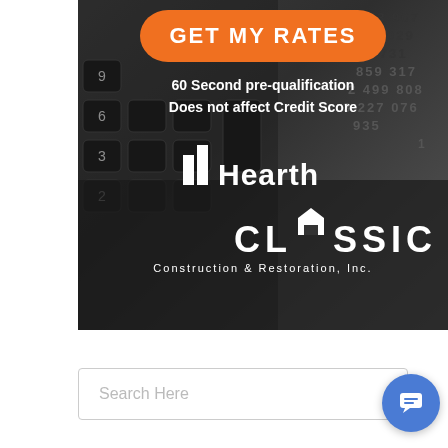[Figure (photo): Advertisement image showing a calculator/phone keyboard background with orange 'GET MY RATES' button, text '60 Second pre-qualification Does not affect Credit Score', Hearth logo, and Classic Construction & Restoration, Inc. logo in white on dark background.]
Search Here